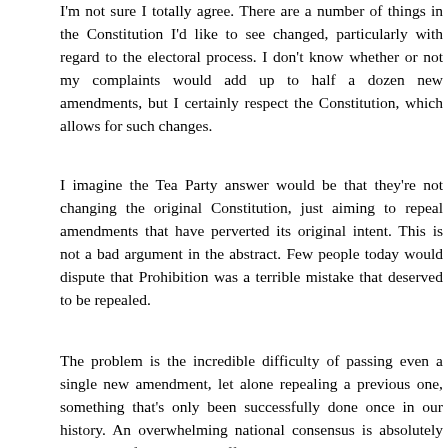I'm not sure I totally agree. There are a number of things in the Constitution I'd like to see changed, particularly with regard to the electoral process. I don't know whether or not my complaints would add up to half a dozen new amendments, but I certainly respect the Constitution, which allows for such changes.
I imagine the Tea Party answer would be that they're not changing the original Constitution, just aiming to repeal amendments that have perverted its original intent. This is not a bad argument in the abstract. Few people today would dispute that Prohibition was a terrible mistake that deserved to be repealed.
The problem is the incredible difficulty of passing even a single new amendment, let alone repealing a previous one, something that's only been successfully done once in our history. An overwhelming national consensus is absolutely necessary, if not always sufficient. Even something as widely supported as abolition of the Electoral College faces huge barriers. But the right always picks the most contentious issues, things that don't have a prayer of being ratified. If anything, Tea Party proposals such as abolishing